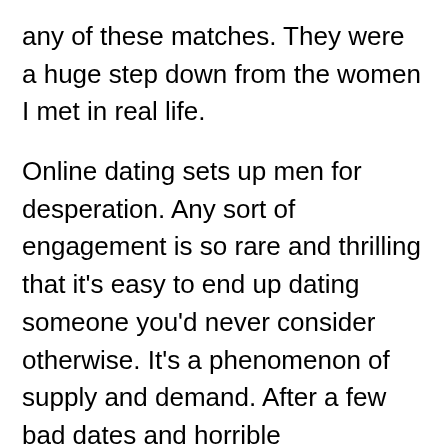any of these matches. They were a huge step down from the women I met in real life.
Online dating sets up men for desperation. Any sort of engagement is so rare and thrilling that it's easy to end up dating someone you'd never consider otherwise. It's a phenomenon of supply and demand. After a few bad dates and horrible relationships, I decided online dating is not for me.
Imagine if you're short, obese, uneducated, and poor. Most American men don't meet Hollywood's expectations of what a man